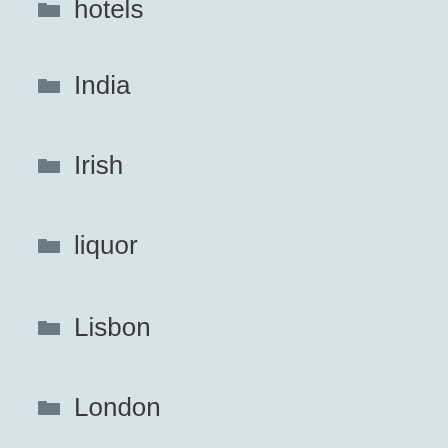hotels
India
Irish
liquor
Lisbon
London
Movies
Museum
Music
Nanjing